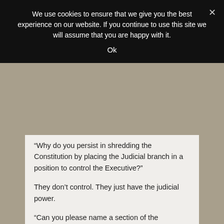We use cookies to ensure that we give you the best experience on our website. If you continue to use this site we will assume that you are happy with it.
Ok
“Why do you persist in shredding the Constitution by placing the Judicial branch in a position to control the Executive?”
They don’t control. They just have the judicial power.
“Can you please name a section of the Constitution that has been removed or abrogated (other than the right to free speech by McCain-Feingold, or the right to own property bu Kelo v. New London, that is)? No?”
Haven’t we sorted out that FISA was violated, and that we’re basically at a separation of powers